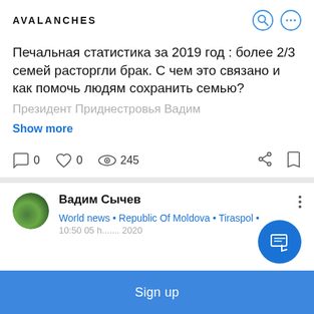AVALANCHES
Печальная статистика за 2019 год : более 2/3 семей расторгли брак. С чем это связано и как помочь людям сохранить семью?
Президент Приднестровья Вадим
Show more
0  0  245
Вадим Сычев
World news • Republic Of Moldova • Tiraspol •